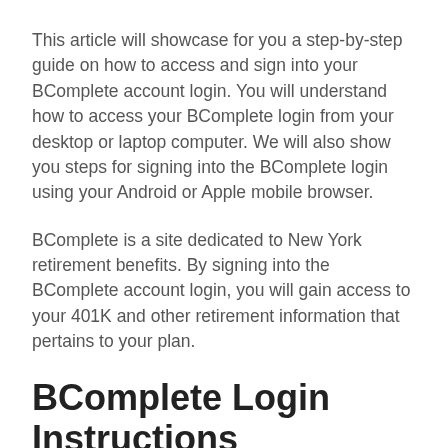This article will showcase for you a step-by-step guide on how to access and sign into your BComplete account login. You will understand how to access your BComplete login from your desktop or laptop computer. We will also show you steps for signing into the BComplete login using your Android or Apple mobile browser.
BComplete is a site dedicated to New York retirement benefits. By signing into the BComplete account login, you will gain access to your 401K and other retirement information that pertains to your plan.
BComplete Login Instructions
Signing into your BComplete login is a process that